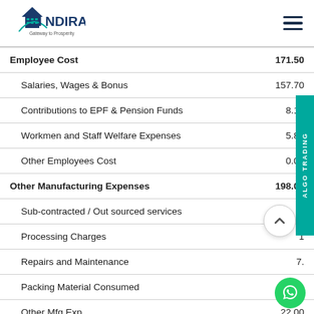INDIRA — Gateway to Prosperity
| Description | Value |
| --- | --- |
| Employee Cost | 171.50 |
| Salaries, Wages & Bonus | 157.70 |
| Contributions to EPF & Pension Funds | 8.10 |
| Workmen and Staff Welfare Expenses | 5.80 |
| Other Employees Cost | 0.00 |
| Other Manufacturing Expenses | 198.00 |
| Sub-contracted / Out sourced services |  |
| Processing Charges | 1? |
| Repairs and Maintenance | 7.0 |
| Packing Material Consumed |  |
| Other Mfg Exp | 22.00 |